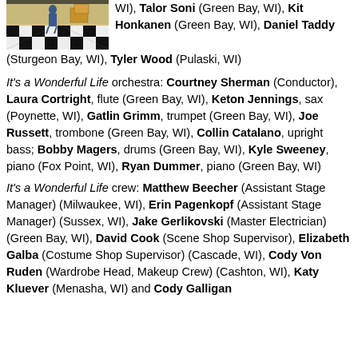[Figure (photo): A photo showing a checkered black and white floor with a person and stage/set elements visible.]
WI), Talor Soni (Green Bay, WI), Kit Honkanen (Green Bay, WI), Daniel Taddy (Sturgeon Bay, WI), Tyler Wood (Pulaski, WI)
It's a Wonderful Life orchestra: Courtney Sherman (Conductor), Laura Cortright, flute (Green Bay, WI), Keton Jennings, sax (Poynette, WI), Gatlin Grimm, trumpet (Green Bay, WI), Joe Russett, trombone (Green Bay, WI), Collin Catalano, upright bass; Bobby Magers, drums (Green Bay, WI), Kyle Sweeney, piano (Fox Point, WI), Ryan Dummer, piano (Green Bay, WI)
It's a Wonderful Life crew: Matthew Beecher (Assistant Stage Manager) (Milwaukee, WI), Erin Pagenkopf (Assistant Stage Manager) (Sussex, WI), Jake Gerlikovski (Master Electrician) (Green Bay, WI), David Cook (Scene Shop Supervisor), Elizabeth Galba (Costume Shop Supervisor) (Cascade, WI), Cody Von Ruden (Wardrobe Head, Makeup Crew) (Cashton, WI), Katy Kluever (Menasha, WI) and Cody Galligan